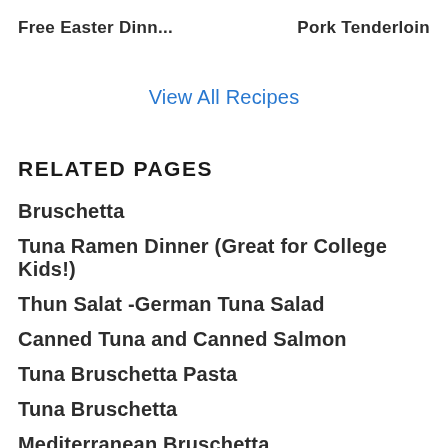Free Easter Dinn...    Pork Tenderloin
View All Recipes
RELATED PAGES
Bruschetta
Tuna Ramen Dinner (Great for College Kids!)
Thun Salat -German Tuna Salad
Canned Tuna and Canned Salmon
Tuna Bruschetta Pasta
Tuna Bruschetta
Mediterranean Bruschetta
Cheesy Bacon Butternut Squash Bruschetta
Fancy Tuna Lasagna